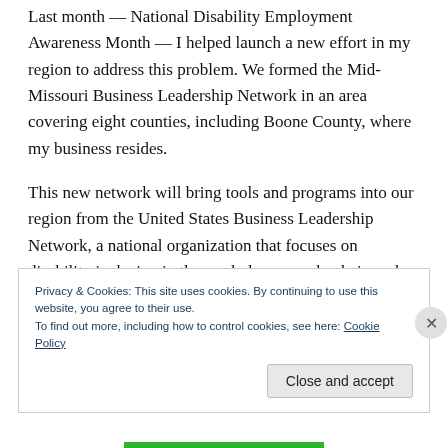Last month — National Disability Employment Awareness Month — I helped launch a new effort in my region to address this problem. We formed the Mid-Missouri Business Leadership Network in an area covering eight counties, including Boone County, where my business resides.
This new network will bring tools and programs into our region from the United States Business Leadership Network, a national organization that focuses on disability inclusion in the workplace, supply chain and marketplace. This national organization currently has
Privacy & Cookies: This site uses cookies. By continuing to use this website, you agree to their use.
To find out more, including how to control cookies, see here: Cookie Policy